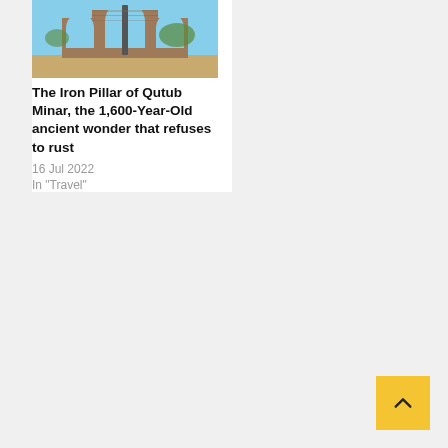[Figure (photo): Photograph of the Iron Pillar and arched gateway ruins at Qutub Minar complex, showing brick arches against a blue sky with a tall iron pillar visible in the center]
The Iron Pillar of Qutub Minar, the 1,600-Year-Old ancient wonder that refuses to rust
16 Jul 2022
In "Travel"